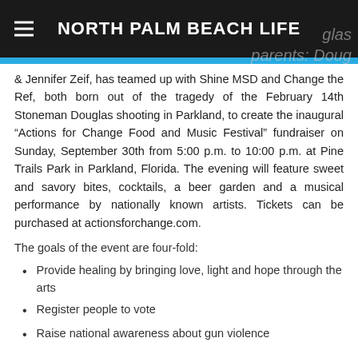NORTH PALM BEACH LIFE
parents: Doug & Jennifer Zeif, has teamed up with Shine MSD and Change the Ref, both born out of the tragedy of the February 14th Stoneman Douglas shooting in Parkland, to create the inaugural “Actions for Change Food and Music Festival” fundraiser on Sunday, September 30th from 5:00 p.m. to 10:00 p.m. at Pine Trails Park in Parkland, Florida. The evening will feature sweet and savory bites, cocktails, a beer garden and a musical performance by nationally known artists. Tickets can be purchased at actionsforchange.com.
The goals of the event are four-fold:
Provide healing by bringing love, light and hope through the arts
Register people to vote
Raise national awareness about gun violence